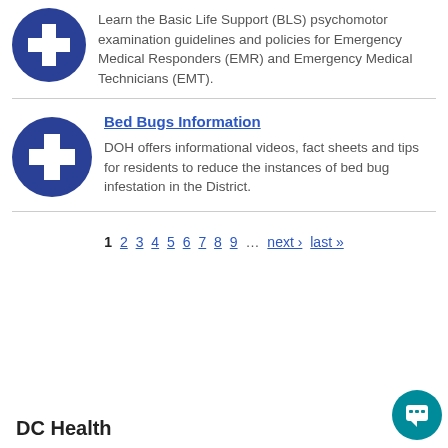[Figure (logo): Blue circle with white plus sign icon]
Learn the Basic Life Support (BLS) psychomotor examination guidelines and policies for Emergency Medical Responders (EMR) and Emergency Medical Technicians (EMT).
[Figure (logo): Blue circle with white plus sign icon]
Bed Bugs Information
DOH offers informational videos, fact sheets and tips for residents to reduce the instances of bed bug infestation in the District.
1 2 3 4 5 6 7 8 9 … next › last »
DC Health
[Figure (illustration): Teal chat button with speech bubble icon]